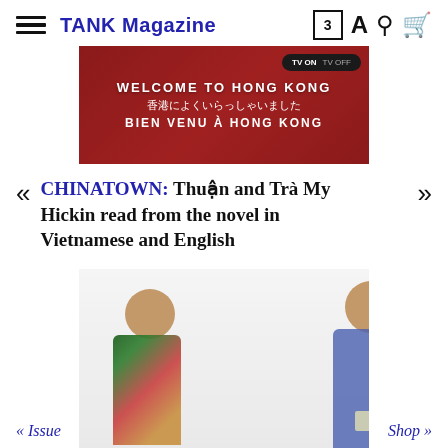TANK Magazine
[Figure (photo): Hero banner image showing 'WELCOME TO HONG KONG' sign in multiple languages including Japanese and French, with a red background. TV ON / TV OFF toggle button overlay.]
CHINATOWN: Thuận and Trà My Hickin read from the novel in Vietnamese and English
[Figure (photo): Two women seated side by side against a white/light background. The woman on the left wears a floral print top and is smiling. The woman on the right wears a blue jacket and holds what appears to be a book.]
« Issue    Shop »